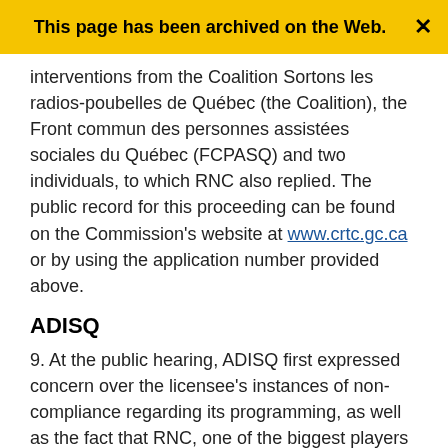This page has been archived on the Web.
interventions from the Coalition Sortons les radios-poubelles de Québec (the Coalition), the Front commun des personnes assistées sociales du Québec (FCPASQ) and two individuals, to which RNC also replied. The public record for this proceeding can be found on the Commission's website at www.crtc.gc.ca or by using the application number provided above.
ADISQ
9. At the public hearing, ADISQ first expressed concern over the licensee's instances of non-compliance regarding its programming, as well as the fact that RNC, one of the biggest players in the Quebec radio market, is pleading ignorance with respect to music categories and French-language vocal music (FVM). In light of the licensee's instances of non-compliance, ADISQ is of the view that the licence for CKLX-FM should be renewed for a short-term period.